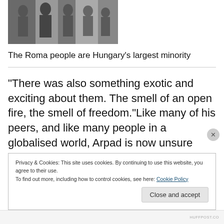[Figure (photo): Group of people including children and adults, partially visible at top of page]
The Roma people are Hungary's largest minority
“There was also something exotic and exciting about them. The smell of an open fire, the smell of freedom.”Like many of his peers, and like many people in a globalised world, Arpad is now unsure where he belongs. He certainly seems to have a stake in the metro-savvy, globalized world of Budapest’s cafes, salons and grunge
Privacy & Cookies: This site uses cookies. By continuing to use this website, you agree to their use.
To find out more, including how to control cookies, see here: Cookie Policy
Close and accept
HUFFPOST.CO